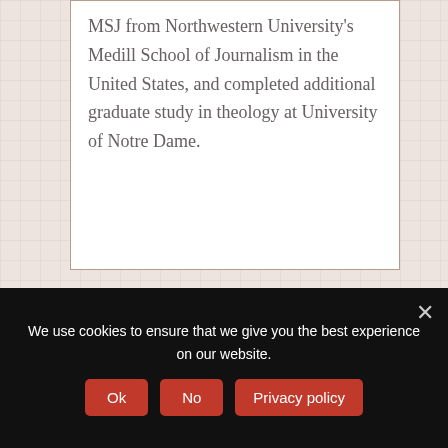MSJ from Northwestern University's Medill School of Journalism in the United States, and completed additional graduate study in theology at University of Notre Dame.
READ ALSO
We use cookies to ensure that we give you the best experience on our website.